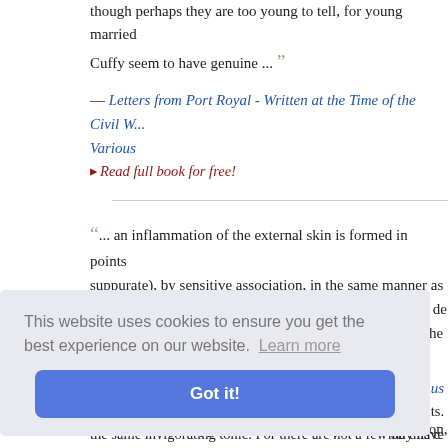though perhaps they are too young to tell, for young married ... Cuffy seem to have genuine ...
— Letters from Port Royal - Written at the Time of the Civil W... Various
▸ Read full book for free!
... an inflammation of the external skin is formed in points suppurate), by sensitive association, in the same manner as produced in consequence of exposing the feet to cold, as de XXV. 17. and Class IV. 2. I. 7. If the inoculated skin of the ar appears inflamed, was to be cut out, or destroyed by caustic commenced, as suppose on the fourth day after inoculation, the disease? ...
• Erasmus...
s of saints. may have ove the n...
the same invigorating tonic. For there are not a few on this c...
This website uses cookies to ensure you get the best experience on our website. Learn more
Got it!